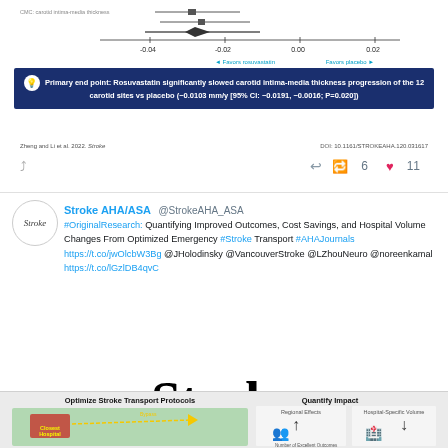[Figure (screenshot): Top portion of a tweet showing a forest plot / meta-analysis chart for rosuvastatin vs placebo carotid intima-media thickness, with a dark blue key finding box: 'Primary end point: Rosuvastatin significantly slowed carotid intima-media thickness progression of the 12 carotid sites vs placebo (−0.0103 mm/y [95% CI: −0.0191, −0.0016; P=0.020])', citation 'Zheng and Li et al. 2022. Stroke. DOI: 10.1161/STROKEAHA.120.031617', and tweet action icons with 6 retweets and 11 likes.]
[Figure (screenshot): Tweet from @StrokeAHA_ASA account with Stroke journal logo avatar. Tweet text: '#OriginalResearch: Quantifying Improved Outcomes, Cost Savings, and Hospital Volume Changes From Optimized Emergency #Stroke Transport #AHAJournals https://t.co/jwOlcbW3Bg @JHolodinsky @VancouverStroke @LZhouNeuro @noreenkamal https://t.co/lGzlDB4qvC']
[Figure (logo): Stroke journal logo: large bold serif 'Stroke' text, yellow horizontal rule, and 'An American Heart Association Journal' subtitle]
[Figure (infographic): Bottom portion of an infographic showing 'Optimize Stroke Transport Protocols' on left with a map graphic showing 'Closest Hospital' and 'Bypass' routes, and 'Quantify Impact' on right with 'Regional Effects' showing people icons with up arrow labeled 'Number of Excellent Outcomes' and 'Hospital-Specific Volume' showing hospital icon with down arrow.]